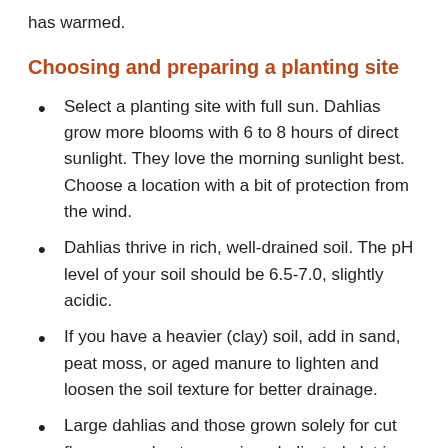has warmed.
Choosing and preparing a planting site
Select a planting site with full sun. Dahlias grow more blooms with 6 to 8 hours of direct sunlight. They love the morning sunlight best. Choose a location with a bit of protection from the wind.
Dahlias thrive in rich, well-drained soil. The pH level of your soil should be 6.5-7.0, slightly acidic.
If you have a heavier (clay) soil, add in sand, peat moss, or aged manure to lighten and loosen the soil texture for better drainage.
Large dahlias and those grown solely for cut flowers are best grown in a dedicated plot in rows on their own, free from competition from other plants. Dahlias of medium to low height